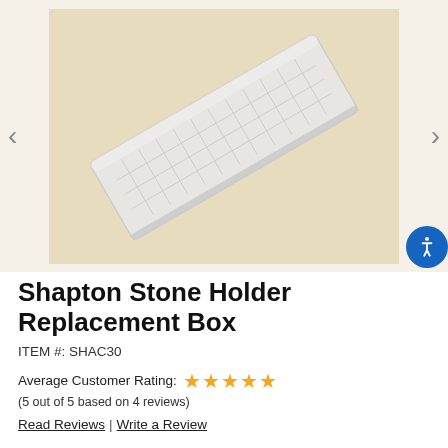[Figure (photo): A translucent plastic rectangular storage/holder box with a grid tray inside, photographed on a light beige/cream surface. Navigation arrows on left and right sides.]
Shapton Stone Holder Replacement Box
ITEM #: SHAC30
Average Customer Rating: ★★★★★
(5 out of 5 based on 4 reviews)
Read Reviews | Write a Review
Our Price: $8.95
Availability: